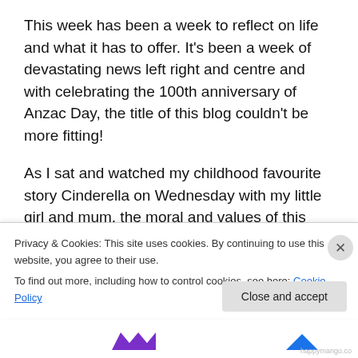This week has been a week to reflect on life and what it has to offer. It's been a week of devastating news left right and centre and with celebrating the 100th anniversary of Anzac Day, the title of this blog couldn't be more fitting!
As I sat and watched my childhood favourite story Cinderella on Wednesday with my little girl and mum, the moral and values of this story are ones that every human should be exposed to…have courage, be kind! If only we all did this more readily. It made me stop and reflect as a parent – am I showing my own children this?!? I think I
Privacy & Cookies: This site uses cookies. By continuing to use this website, you agree to their use.
To find out more, including how to control cookies, see here: Cookie Policy
Close and accept